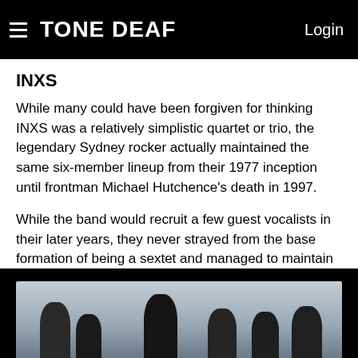TONE DEAF  Login
INXS
While many could have been forgiven for thinking INXS was a relatively simplistic quartet or trio, the legendary Sydney rocker actually maintained the same six-member lineup from their 1977 inception until frontman Michael Hutchence's death in 1997.
While the band would recruit a few guest vocalists in their later years, they never strayed from the base formation of being a sextet and managed to maintain their reputation as one of Australia's largest (and most famous) pub-rock bands.
[Figure (photo): Black and white photograph of the band INXS, showing multiple members standing together against a light background]